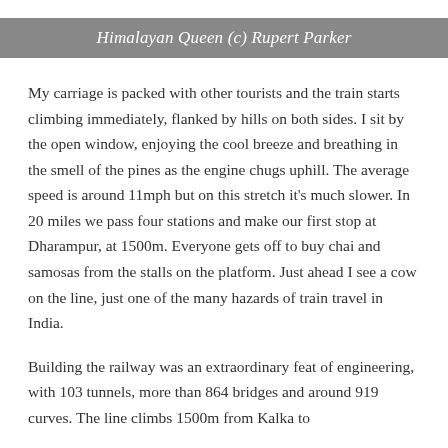Himalayan Queen (c) Rupert Parker
My carriage is packed with other tourists and the train starts climbing immediately, flanked by hills on both sides. I sit by the open window, enjoying the cool breeze and breathing in the smell of the pines as the engine chugs uphill. The average speed is around 11mph but on this stretch it's much slower. In 20 miles we pass four stations and make our first stop at Dharampur, at 1500m. Everyone gets off to buy chai and samosas from the stalls on the platform. Just ahead I see a cow on the line, just one of the many hazards of train travel in India.
Building the railway was an extraordinary feat of engineering, with 103 tunnels, more than 864 bridges and around 919 curves. The line climbs 1500m from Kalka to